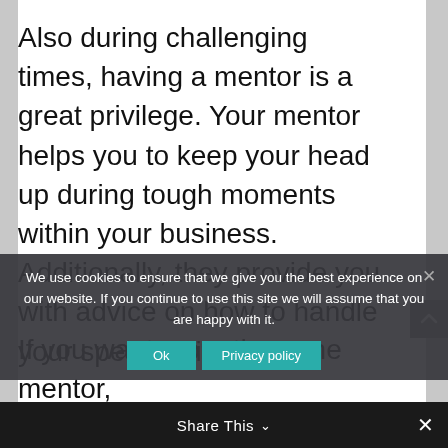Also during challenging times, having a mentor is a great privilege. Your mentor helps you to keep your head up during tough moments within your business. Additionally, they provide you with advice on how to handle your specific situation.
If you want more than one mentor, consider starting a mastermind group
We use cookies to ensure that we give you the best experience on our website. If you continue to use this site we will assume that you are happy with it.
Share This